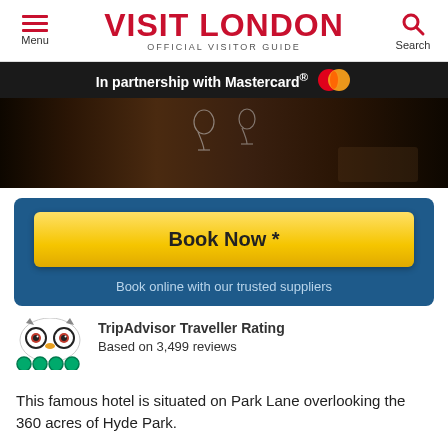VISIT LONDON — OFFICIAL VISITOR GUIDE
In partnership with Mastercard®
[Figure (photo): Dark restaurant interior with table settings, wine glasses and patterned carpet]
Book Now *
Book online with our trusted suppliers
TripAdvisor Traveller Rating
Based on 3,499 reviews
This famous hotel is situated on Park Lane overlooking the 360 acres of Hyde Park.